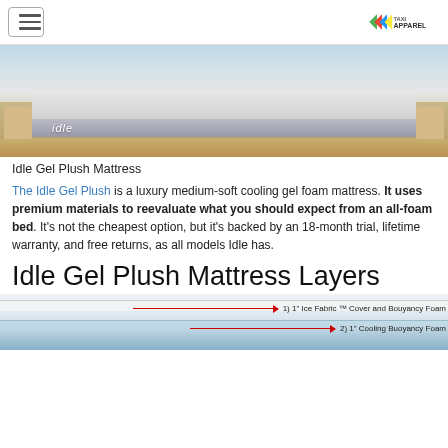Navigation with hamburger menu and Taxi Apparel logo
[Figure (photo): Idle gel plush mattress on a wooden bed frame in a bright bedroom setting with text 'idle' on the mattress side]
Idle Gel Plush Mattress
The Idle Gel Plush is a luxury medium-soft cooling gel foam mattress. It uses premium materials to reevaluate what you should expect from an all-foam bed. It's not the cheapest option, but it's backed by an 18-month trial, lifetime warranty, and free returns, as all models Idle has.
Idle Gel Plush Mattress Layers
[Figure (infographic): Cross-section diagram of mattress layers showing 1) 1" Ice Fabric™ Cover and Bouyancy Foam and 2) 1" Cooling Buoyancy Foam with red arrows pointing to each layer]